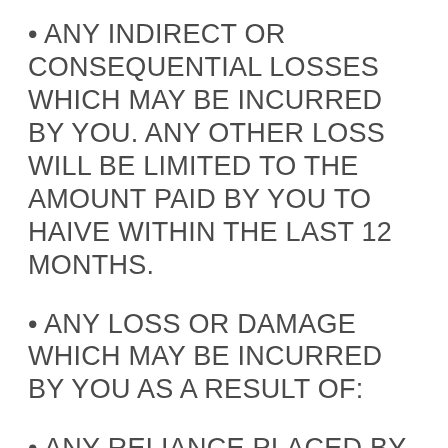• ANY INDIRECT OR CONSEQUENTIAL LOSSES WHICH MAY BE INCURRED BY YOU. ANY OTHER LOSS WILL BE LIMITED TO THE AMOUNT PAID BY YOU TO HAIVE WITHIN THE LAST 12 MONTHS.
• ANY LOSS OR DAMAGE WHICH MAY BE INCURRED BY YOU AS A RESULT OF:
• ANY RELIANCE PLACED BY YOU ON THE COMPLETENESS, ACCURACY OR EXISTENCE OF ANY ADVERTISING, OR AS A RESULT OF ANY RELATIONSHIP OR TRANSACTION BETWEEN YOU AND ANY ADVERTISER OR SPONSOR WHOSE ADVERTISING APPEARS ON